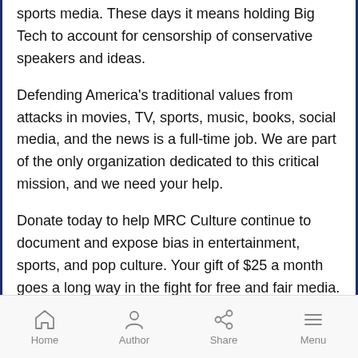sports media. These days it means holding Big Tech to account for censorship of conservative speakers and ideas.
Defending America's traditional values from attacks in movies, TV, sports, music, books, social media, and the news is a full-time job. We are part of the only organization dedicated to this critical mission, and we need your help.
Donate today to help MRC Culture continue to document and expose bias in entertainment, sports, and pop culture. Your gift of $25 a month goes a long way in the fight for free and fair media.
We seek only entertainment that does not mock
Home  Author  Share  Menu